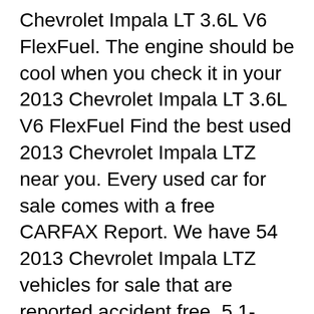Chevrolet Impala LT 3.6L V6 FlexFuel. The engine should be cool when you check it in your 2013 Chevrolet Impala LT 3.6L V6 FlexFuel Find the best used 2013 Chevrolet Impala LTZ near you. Every used car for sale comes with a free CARFAX Report. We have 54 2013 Chevrolet Impala LTZ vehicles for sale that are reported accident free, 5 1-Owner cars, and 10 personal use cars.
23/06/2014B B· Get reliability information for the 2013 Chevrolet Impala from Consumer Reports, which combines extensive survey data and expert technical knowledge. Find the best used 2013 Chevrolet Impala near you. Every used car for sale comes with